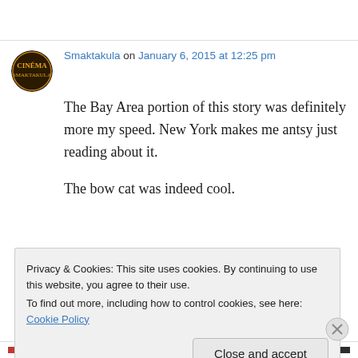Smaktakula on January 6, 2015 at 12:25 pm
The Bay Area portion of this story was definitely more my speed. New York makes me antsy just reading about it.

The bow cat was indeed cool.
Privacy & Cookies: This site uses cookies. By continuing to use this website, you agree to their use.
To find out more, including how to control cookies, see here: Cookie Policy
Close and accept